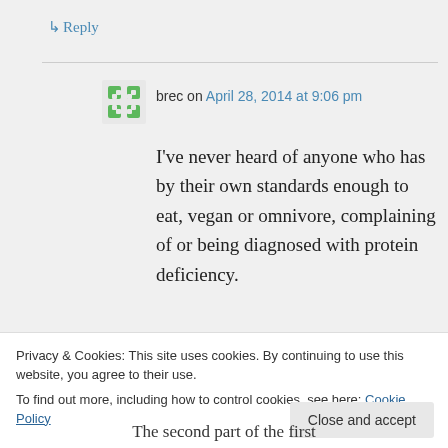↳ Reply
brec on April 28, 2014 at 9:06 pm
I've never heard of anyone who has by their own standards enough to eat, vegan or omnivore, complaining of or being diagnosed with protein deficiency.
↳ Reply
Privacy & Cookies: This site uses cookies. By continuing to use this website, you agree to their use.
To find out more, including how to control cookies, see here: Cookie Policy
The second part of the first